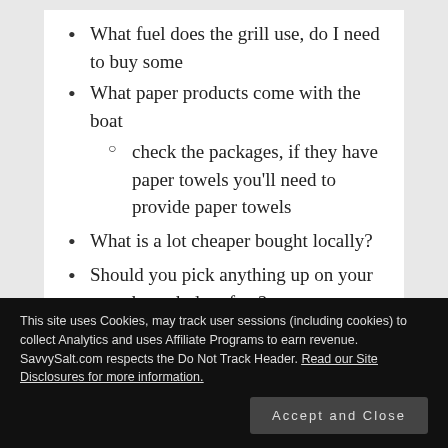What fuel does the grill use, do I need to buy some
What paper products come with the boat
check the packages, if they have paper towels you'll need to provide paper towels
What is a lot cheaper bought locally?
Should you pick anything up on your way through duty free?
This site uses Cookies, may track user sessions (including cookies) to collect Analytics and uses Affiliate Programs to earn revenue. SavvySalt.com respects the Do Not Track Header. Read our Site Disclosures for more information. Accept and Close